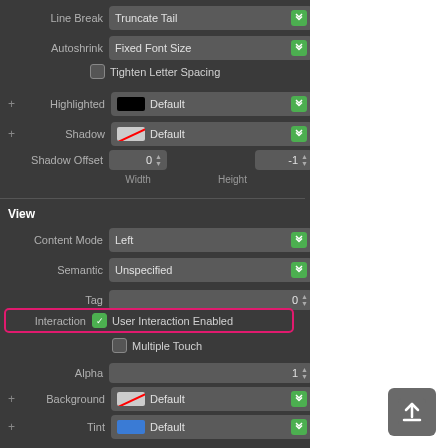[Figure (screenshot): Xcode Interface Builder Attributes Inspector panel showing Label properties including Line Break, Autoshrink, Letter Spacing, Highlighted, Shadow, Shadow Offset settings, then View section with Content Mode, Semantic, Tag, Interaction (highlighted with pink border showing User Interaction Enabled checked), Multiple Touch, Alpha, Background, Tint, Drawing, Hidden, Clears Graphics Context, Clip to Bounds fields. An upload/share button is visible bottom right.]